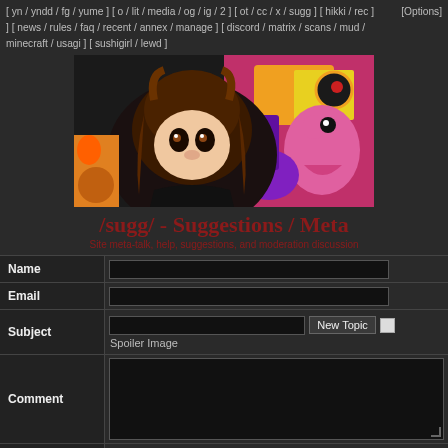[ yn / yndd / fg / yume ] [ o / lit / media / og / ig / 2 ] [ ot / cc / x / sugg ] [ hikki / rec ] [ news / rules / faq / recent / annex / manage ] [ discord / matrix / scans / mud / minecraft / usagi ] [ sushigirl / lewd ]  [Options]
[Figure (illustration): Banner image showing anime-style character with brown hair alongside colorful abstract/painted figures]
/sugg/ - Suggestions / Meta
Site meta-talk, help, suggestions, and moderation discussion
| Field | Input |
| --- | --- |
| Name |  |
| Email |  |
| Subject | New Topic  [ ] Spoiler Image |
| Comment |  |
| Select | File / Oekaki |